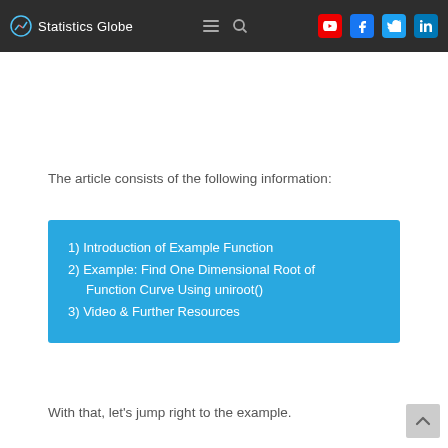Statistics Globe
The article consists of the following information:
1) Introduction of Example Function
2) Example: Find One Dimensional Root of Function Curve Using uniroot()
3) Video & Further Resources
With that, let's jump right to the example.